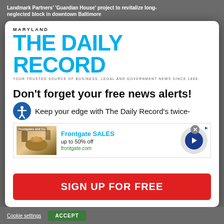Landmark Partners' 'Guardian House' project to revitalize long-neglected block in downtown Baltimore
[Figure (logo): Maryland The Daily Record logo - blue bold masthead with tagline 'Your Trusted Source of Business, Legal and Government News Since 1888.']
Don't forget your free news alerts!
Keep your edge with The Daily Record's twice-
[Figure (infographic): Advertisement banner for Frontgate SALES - up to 50% off, frontgate.com, with product image and navigation arrow]
SIGN UP FOR FREE
Cookie settings   ACCEPT